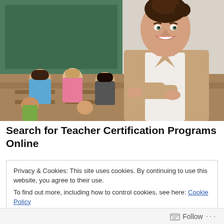[Figure (photo): A smiling female teacher standing with arms crossed in front of a classroom with children seated at desks and a green chalkboard in the background.]
Search for Teacher Certification Programs Online
Privacy & Cookies: This site uses cookies. By continuing to use this website, you agree to their use.
To find out more, including how to control cookies, see here: Cookie Policy
Close and accept
Follow